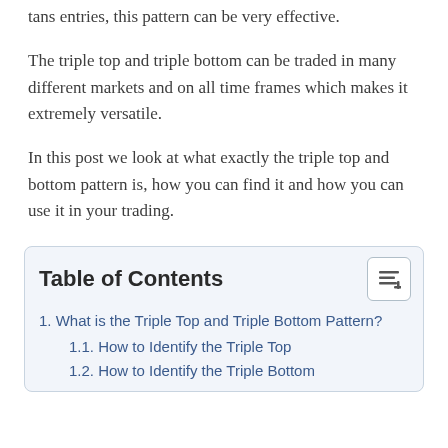tans entries, this pattern can be very effective.
The triple top and triple bottom can be traded in many different markets and on all time frames which makes it extremely versatile.
In this post we look at what exactly the triple top and bottom pattern is, how you can find it and how you can use it in your trading.
| Table of Contents |
| --- |
| 1. What is the Triple Top and Triple Bottom Pattern? |
| 1.1. How to Identify the Triple Top |
| 1.2. How to Identify the Triple Bottom |